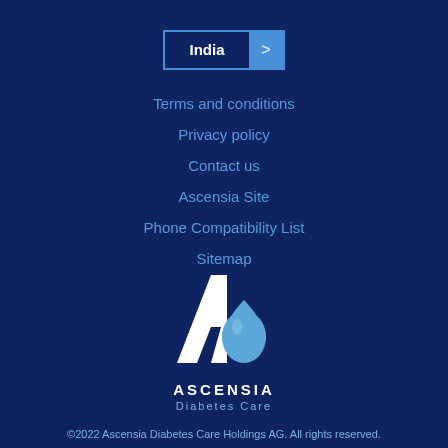[Figure (other): India country selector button with blue arrow]
Terms and conditions
Privacy policy
Contact us
Ascensia Site
Phone Compatibility List
Sitemap
[Figure (logo): Ascensia Diabetes Care logo — white letter A with light blue water drop]
©2022 Ascensia Diabetes Care Holdings AG. All rights reserved.